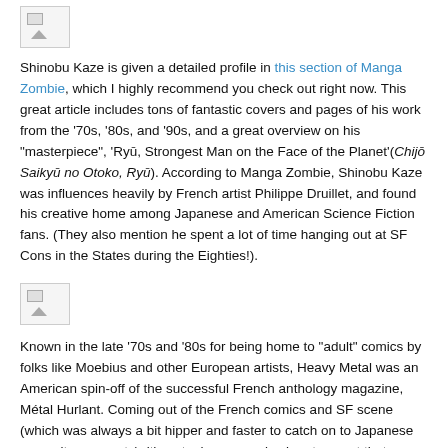[Figure (illustration): Small broken/placeholder image icon in top left area]
Shinobu Kaze is given a detailed profile in this section of Manga Zombie, which I highly recommend you check out right now. This great article includes tons of fantastic covers and pages of his work from the '70s, '80s, and '90s, and a great overview on his "masterpiece", 'Ryū, Strongest Man on the Face of the Planet'(Chijō Saikyū no Otoko, Ryū). According to Manga Zombie, Shinobu Kaze was influences heavily by French artist Philippe Druillet, and found his creative home among Japanese and American Science Fiction fans. (They also mention he spent a lot of time hanging out at SF Cons in the States during the Eighties!).
[Figure (illustration): Small broken/placeholder image icon in middle left area]
Known in the late '70s and '80s for being home to "adult" comics by folks like Moebius and other European artists, Heavy Metal was an American spin-off of the successful French anthology magazine, Métal Hurlant. Coming out of the French comics and SF scene (which was always a bit hipper and faster to catch on to Japanese pop culture exports), it's not a huge surprise in retrospect that Heavy Metal was the first US home to this type of manga. At the time "Violence Becomes Tranquility", Heavy Metal's